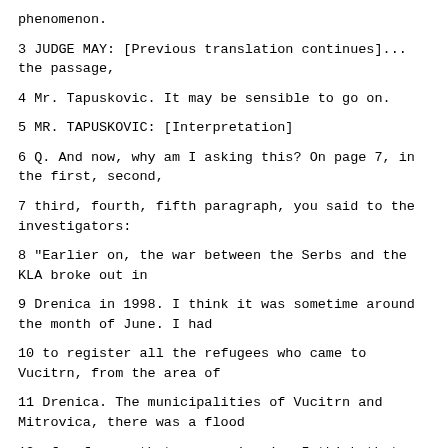phenomenon.
3 JUDGE MAY: [Previous translation continues]... the passage,
4 Mr. Tapuskovic. It may be sensible to go on.
5 MR. TAPUSKOVIC: [Interpretation]
6 Q. And now, why am I asking this? On page 7, in the first, second,
7 third, fourth, fifth paragraph, you said to the investigators:
8 "Earlier on, the war between the Serbs and the KLA broke out in
9 Drenica in 1998. I think it was sometime around the month of June. I had
10 to register all the refugees who came to Vucitrn, from the area of
11 Drenica. The municipalities of Vucitrn and Mitrovica, there was a flood
12 of refugees that was coming in. I think that from the war zone, about
13 40.000 refugees came."